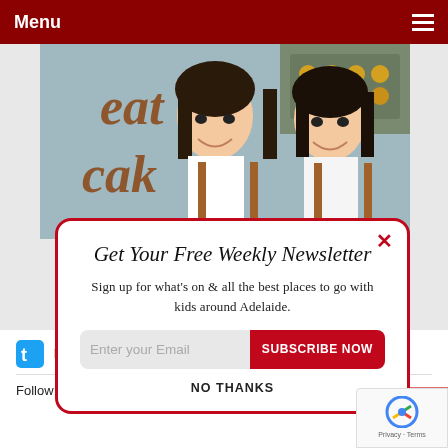Menu
[Figure (photo): Two women in aprons smiling in a bakery with 'eat cake' text on the wall behind them]
Get Your Free Weekly Newsletter
Sign up for what's on & all the best places to go with kids around Adelaide.
Enter your Email | SUBSCRIBE NOW
NO THANKS
FOLLOW US ON TWITTER
Follow @playandgo on Twitter